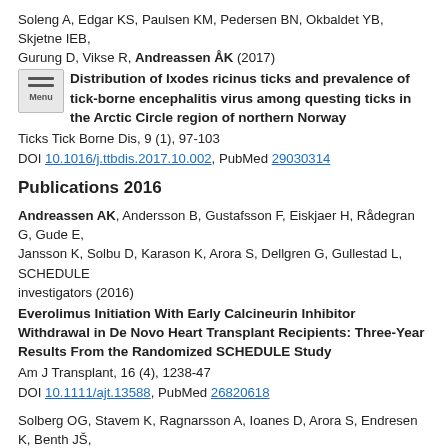Soleng A, Edgar KS, Paulsen KM, Pedersen BN, Okbaldet YB, Skjetne IEB, Gurung D, Vikse R, Andreassen ÅK (2017)
Distribution of Ixodes ricinus ticks and prevalence of tick-borne encephalitis virus among questing ticks in the Arctic Circle region of northern Norway
Ticks Tick Borne Dis, 9 (1), 97-103
DOI 10.1016/j.ttbdis.2017.10.002, PubMed 29030314
Publications 2016
Andreassen AK, Andersson B, Gustafsson F, Eiskjaer H, Rådegran G, Gude E, Jansson K, Solbu D, Karason K, Arora S, Dellgren G, Gullestad L, SCHEDULE investigators (2016)
Everolimus Initiation With Early Calcineurin Inhibitor Withdrawal in De Novo Heart Transplant Recipients: Three-Year Results From the Randomized SCHEDULE Study
Am J Transplant, 16 (4), 1238-47
DOI 10.1111/ajt.13588, PubMed 26820618
Solberg OG, Stavem K, Ragnarsson A, Ioanes D, Arora S, Endresen K, Benth JŠ, Gullestad L, Gude E, Andreassen AK, Aaberge L (2016)
Index of microvascular resistance after early conversion from calcineurin inhibitor to everolimus in heart transplantation: A sub-study